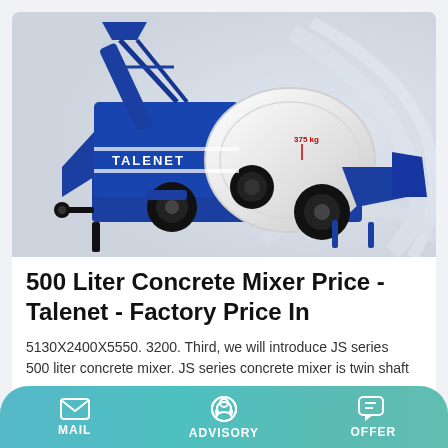[Figure (photo): Blue TALENET concrete mixer machine with white drum, conveyor belt, and wheels on a light grey gradient background]
500 Liter Concrete Mixer Price - Talenet - Factory Price In
5130X2400X5550. 3200. Third, we will introduce JS series 500 liter concrete mixer. JS series concrete mixer is twin shaft
MAIL   ADVISORY   OFFER